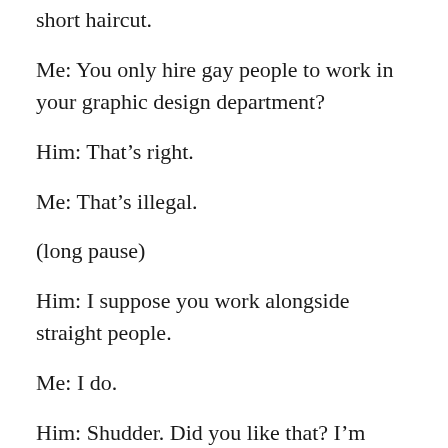short haircut.
Me: You only hire gay people to work in your graphic design department?
Him: That’s right.
Me: That’s illegal.
(long pause)
Him: I suppose you work alongside straight people.
Me: I do.
Him: Shudder. Did you like that? I’m announcing my shudder.
Me: I…
Him: How can you do that? How can you work with them?